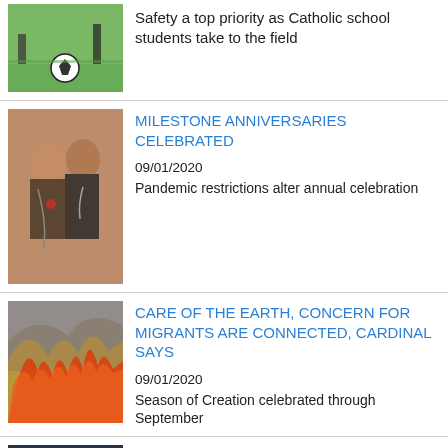[Figure (photo): Soccer ball on grass field with players' legs visible]
Safety a top priority as Catholic school students take to the field
[Figure (photo): Two elderly people embracing at an anniversary celebration]
MILESTONE ANNIVERSARIES CELEBRATED
09/01/2020
Pandemic restrictions alter annual celebration
[Figure (photo): Field fire with flames and smoke]
CARE OF THE EARTH, CONCERN FOR MIGRANTS ARE CONNECTED, CARDINAL SAYS
09/01/2020
Season of Creation celebrated through September
[Figure (photo): Trees and building damaged by hurricane]
HURRICANE DESTROYS LOUISIANA CHURCHES, CLOSES SCHOOLS, DISPLACES PRIESTS